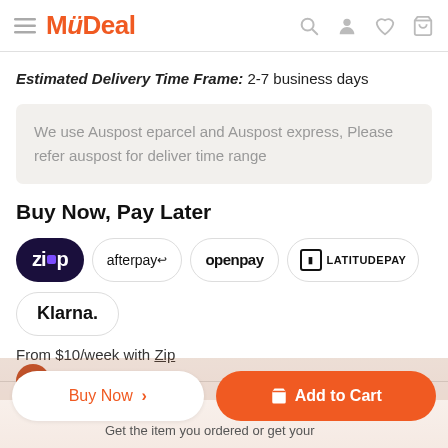MyDeal
Estimated Delivery Time Frame: 2-7 business days
We use Auspost eparcel and Auspost express, Please refer auspost for deliver time range
Buy Now, Pay Later
[Figure (logo): Payment method badges: Zip, afterpay, openpay, LATITUDEPAY, Klarna]
From $10/week with Zip
Buy Now >   Add to Cart
Get the item you ordered or get your